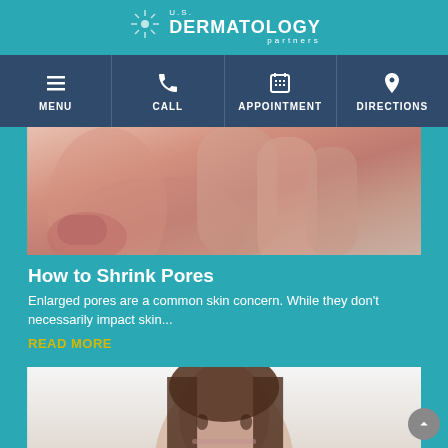U.S. DERMATOLOGY partners
[Figure (screenshot): Navigation bar with four items: MENU (hamburger icon), CALL (phone icon), APPOINTMENT (calendar icon), DIRECTIONS (location pin icon)]
[Figure (photo): Close-up photo of a person's face and fingers touching cheek, showing skin texture and pores]
How to Shrink Pores
Enlarged pores are a common skin concern. While they don't necessarily impact skin...
READ MORE
[Figure (photo): Photo of a woman's face with long dark hair against a white background]